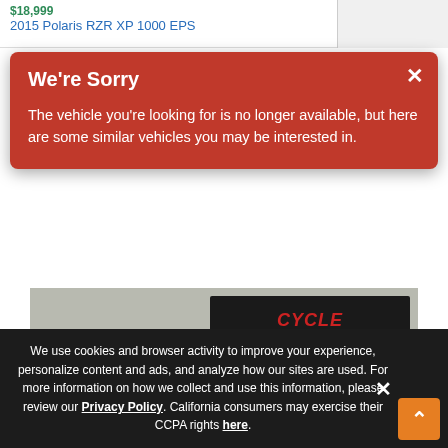2015 Polaris RZR XP 1000 EPS
[Figure (screenshot): Red modal dialog overlay reading 'We're Sorry' with message about vehicle no longer being available and close X button]
[Figure (photo): Motorcycle (cruiser/touring style) parked in front of a Cycle Exchange dealership banner that says BUY. SELL. TRADE and www.TheCycle...]
We use cookies and browser activity to improve your experience, personalize content and ads, and analyze how our sites are used. For more information on how we collect and use this information, please review our Privacy Policy. California consumers may exercise their CCPA rights here.